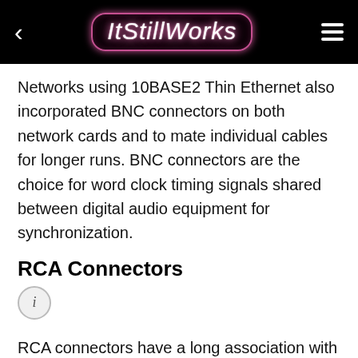ItStillWorks
Networks using 10BASE2 Thin Ethernet also incorporated BNC connectors on both network cards and to mate individual cables for longer runs. BNC connectors are the choice for word clock timing signals shared between digital audio equipment for synchronization.
RCA Connectors
i
RCA connectors have a long association with component audio, recognizable by the protruding pin on the jack, surrounded by metal blades arranged in rings. These blades slide over